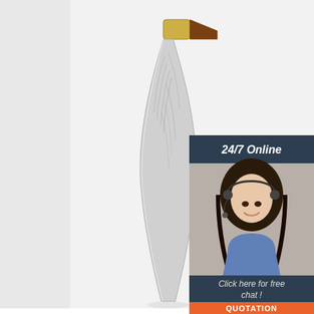[Figure (photo): Damascus steel pocket knife blade and handle on grey background]
[Figure (infographic): 24/7 Online customer service ad with woman wearing headset, orange QUOTATION button, and 'Click here for free chat!' text]
The Best Pocket Knives: A Blade Junkie's Favorites ...
2020-11-6u2002·u2002With a stubby 2.625- and a burly handle that doubles as a prybar end opposite the knife, this tool rides in my pocket whenever I'm doing housework or chores.
[Figure (logo): TOP logo with orange dotted triangle above the word TOP]
Get Price